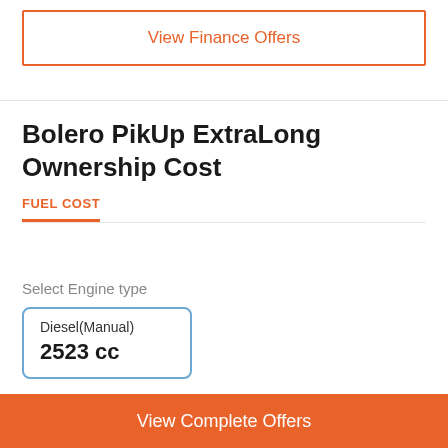View Finance Offers
Bolero PikUp ExtraLong Ownership Cost
FUEL COST
Select Engine type
Diesel(Manual)
2523 cc
KM driven per day	20 km/day
View Complete Offers